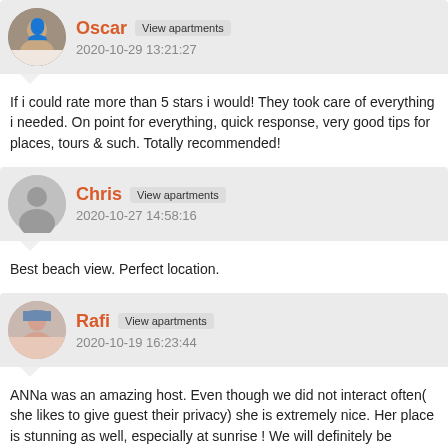Oscar  View apartments
2020-10-29 13:21:27
If i could rate more than 5 stars i would! They took care of everything i needed. On point for everything, quick response, very good tips for places, tours & such. Totally recommended!
Chris  View apartments
2020-10-27 14:58:16
Best beach view. Perfect location.
Rafi  View apartments
2020-10-19 16:23:44
ANNa was an amazing host. Even though we did not interact often( she likes to give guest their privacy) she is extremely nice. Her place is stunning as well, especially at sunrise ! We will definitely be booking again! Amazing villa.